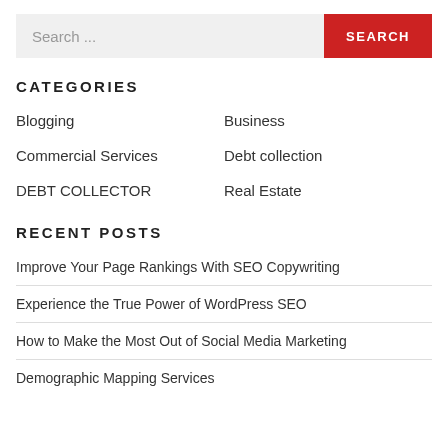Search ...
CATEGORIES
Blogging
Business
Commercial Services
Debt collection
DEBT COLLECTOR
Real Estate
RECENT POSTS
Improve Your Page Rankings With SEO Copywriting
Experience the True Power of WordPress SEO
How to Make the Most Out of Social Media Marketing
Demographic Mapping Services